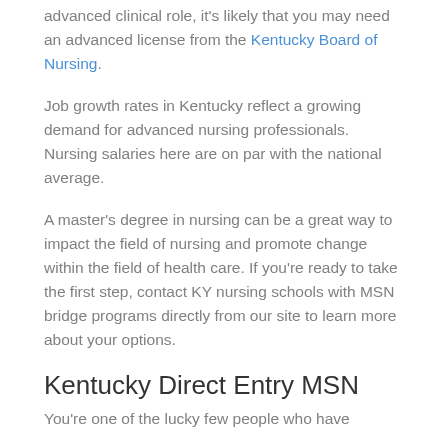advanced clinical role, it's likely that you may need an advanced license from the Kentucky Board of Nursing.
Job growth rates in Kentucky reflect a growing demand for advanced nursing professionals. Nursing salaries here are on par with the national average.
A master's degree in nursing can be a great way to impact the field of nursing and promote change within the field of health care. If you're ready to take the first step, contact KY nursing schools with MSN bridge programs directly from our site to learn more about your options.
Kentucky Direct Entry MSN
You're one of the lucky few people who have